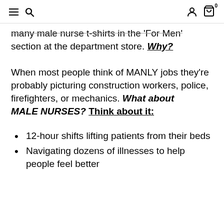≡ 🔍 [user icon] [cart icon] 0
many male nurse t-shirts in the 'For Men' section at the department store. Why?
When most people think of MANLY jobs they're probably picturing construction workers, police, firefighters, or mechanics. What about MALE NURSES? Think about it:
12-hour shifts lifting patients from their beds
Navigating dozens of illnesses to help people feel better